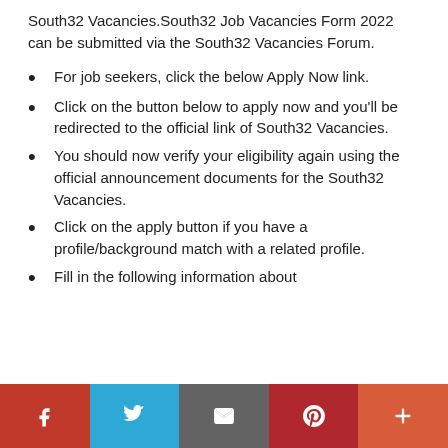South32 Vacancies.South32 Job Vacancies Form 2022 can be submitted via the South32 Vacancies Forum.
For job seekers, click the below Apply Now link.
Click on the button below to apply now and you'll be redirected to the official link of South32 Vacancies.
You should now verify your eligibility again using the official announcement documents for the South32 Vacancies.
Click on the apply button if you have a profile/background match with a related profile.
Fill in the following information about
Social share bar: Facebook, Twitter, Email, Pinterest, More